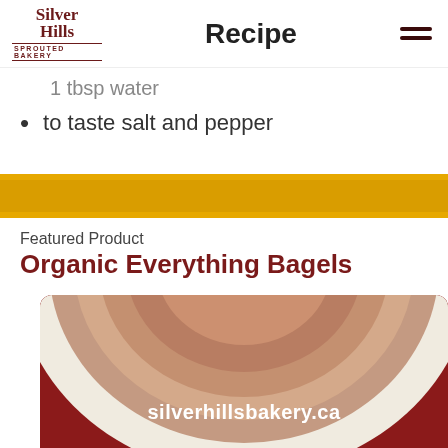Recipe
1 tbsp water
to taste salt and pepper
Featured Product
Organic Everything Bagels
[Figure (photo): Organic Everything Bagels product image on dark red background with silverhillsbakery.ca text]